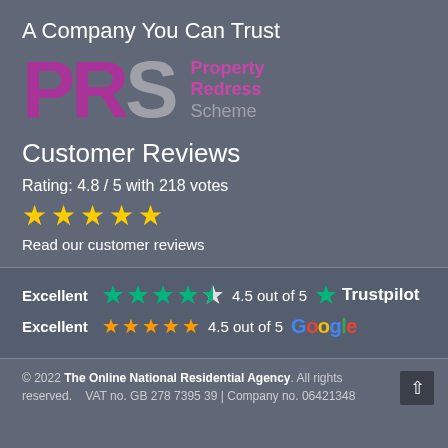A Company You Can Trust
[Figure (logo): PRS Property Redress Scheme logo with large purple P, R letters and grey S, with 'Property Redress Scheme' text in purple and grey]
Customer Reviews
Rating: 4.8 / 5 with 218 votes
[Figure (other): Five gold star rating icons]
Read our customer reviews
Excellent 4.5 out of 5 Trustpilot
Excellent 4.5 out of 5 Google
© 2022 The Online National Residential Agency. All rights reserved. VAT no. GB 278 7395 39 | Company no. 06421348